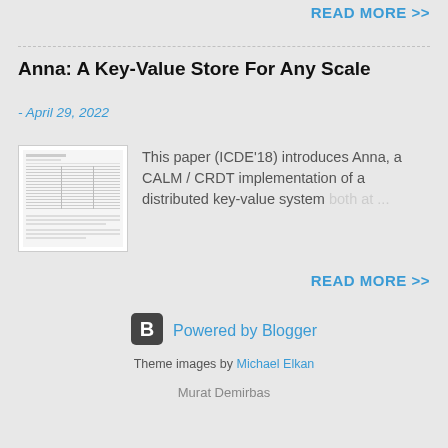READ MORE >>
Anna: A Key-Value Store For Any Scale
- April 29, 2022
[Figure (screenshot): Thumbnail image of a paper/document with tables]
This paper (ICDE'18) introduces Anna, a CALM / CRDT implementation of a distributed key-value system both at ...
READ MORE >>
Powered by Blogger
Theme images by Michael Elkan
Murat Demirbas